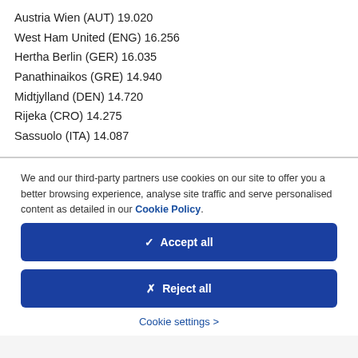Austria Wien (AUT) 19.020
West Ham United (ENG) 16.256
Hertha Berlin (GER) 16.035
Panathinaikos (GRE) 14.940
Midtjylland (DEN) 14.720
Rijeka (CRO) 14.275
Sassuolo (ITA) 14.087
We and our third-party partners use cookies on our site to offer you a better browsing experience, analyse site traffic and serve personalised content as detailed in our Cookie Policy.
✓  Accept all
✗  Reject all
Cookie settings >